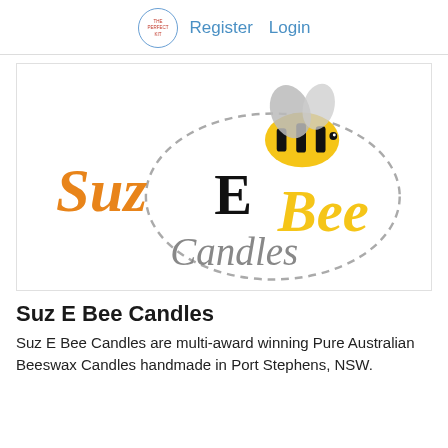Register  Login
[Figure (logo): Suz E Bee Candles logo: cartoon bee with grey wings, yellow and black striped body, dashed oval outline. 'Suz' in orange handwritten font, 'E' in black, 'Bee' in yellow handwritten font, 'Candles' in grey handwritten font below.]
Suz E Bee Candles
Suz E Bee Candles are multi-award winning Pure Australian Beeswax Candles handmade in Port Stephens, NSW.